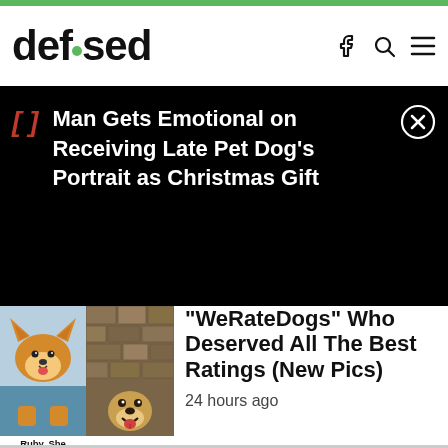defused
Man Gets Emotional on Receiving Late Pet Dog's Portrait as Christmas Gift
[Figure (photo): Thumbnail of a corgi dog with caption: Ruby. She all enough the Ferris 13/10]
[Figure (photo): Thumbnail of a dog in front of stone wall with caption: Big Poppa reunited wi in his build]
"WeRateDogs" Who Deserved All The Best Ratings (New Pics)
24 hours ago